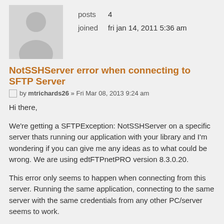[Figure (photo): Default user avatar silhouette placeholder image]
posts    4
joined   fri jan 14, 2011 5:36 am
NotSSHServer error when connecting to SFTP Server
by mtrichards26 » Fri Mar 08, 2013 9:24 am
Hi there,
We're getting a SFTPException: NotSSHServer on a specific server thats running our application with your library and I'm wondering if you can give me any ideas as to what could be wrong. We are using edtFTPnetPRO version 8.3.0.20.
This error only seems to happen when connecting from this server. Running the same application, connecting to the same server with the same credentials from any other PC/server seems to work.
Any idea what could be the issue?
Thanks very much!
Matt